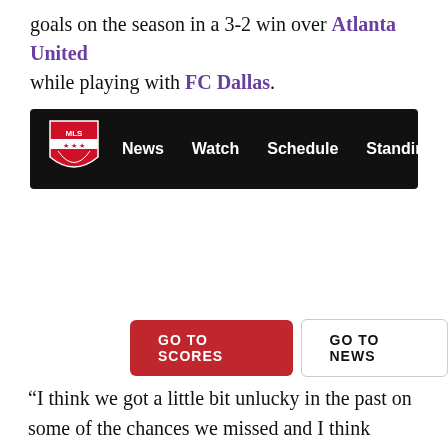goals on the season in a 3-2 win over Atlanta United while playing with FC Dallas.
[Figure (screenshot): MLS website navigation bar with logo and menu items: News, Watch, Schedule, Standings, and more (…)]
[Figure (screenshot): Two buttons: 'GO TO SCORES' (red) and 'GO TO NEWS' (white/outlined)]
“I think we got a little bit unlucky in the past on some of the chances we missed and I think maybe we got a little bit lucky today on some of the ones we scored,” Akindele said. “It kind of balances out in the long run as long as you’re creating chances, which we’ve been